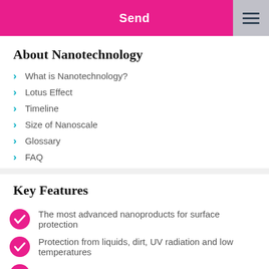Send
About Nanotechnology
What is Nanotechnology?
Lotus Effect
Timeline
Size of Nanoscale
Glossary
FAQ
Key Features
The most advanced nanoproducts for surface protection
Protection from liquids, dirt, UV radiation and low temperatures
Long-lasting effect - up to 5 years
Harmless to health and to environment